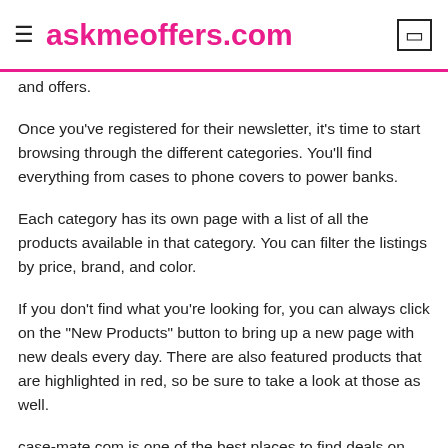≡ askmeoffers.com
and offers.
Once you've registered for their newsletter, it's time to start browsing through the different categories. You'll find everything from cases to phone covers to power banks.
Each category has its own page with a list of all the products available in that category. You can filter the listings by price, brand, and color.
If you don't find what you're looking for, you can always click on the "New Products" button to bring up a new page with new deals every day. There are also featured products that are highlighted in red, so be sure to take a look at those as well.
case-mate.com is one of the best places to find deals on mobile accessories. Their homepage has a search feature so that you can